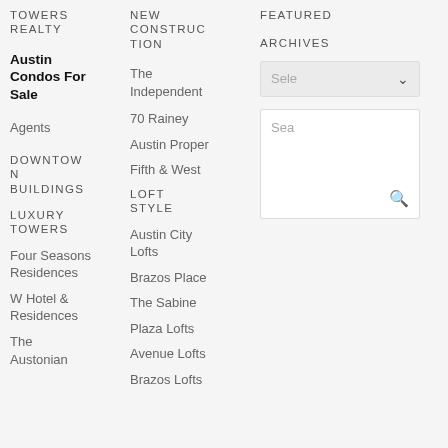TOWERS REALTY
Austin Condos For Sale
Agents
DOWNTOWN BUILDINGS
LUXURY TOWERS
Four Seasons Residences
W Hotel & Residences
The Austonian
NEW CONSTRUCTION
The Independent
70 Rainey
Austin Proper
Fifth & West
LOFT STYLE
Austin City Lofts
Brazos Place
The Sabine
Plaza Lofts
Avenue Lofts
Brazos Lofts
FEATURED
ARCHIVES
[Figure (screenshot): Dropdown select widget with placeholder text 'Sele' and chevron icon]
[Figure (screenshot): Search text input box with placeholder 'Sea' and magnifying glass icon]